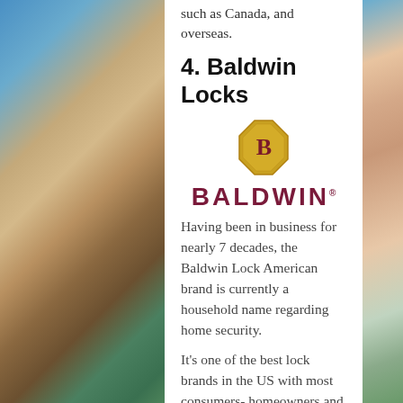such as Canada, and overseas.
4. Baldwin Locks
[Figure (logo): Baldwin Locks logo: golden octagonal emblem with stylized 'B' monogram above the word BALDWIN in dark red/maroon bold capitals with trademark symbol]
Having been in business for nearly 7 decades, the Baldwin Lock American brand is currently a household name regarding home security.
It's one of the best lock brands in the US with most consumers- homeowners and businesses alike, due to its pioneering ideas as